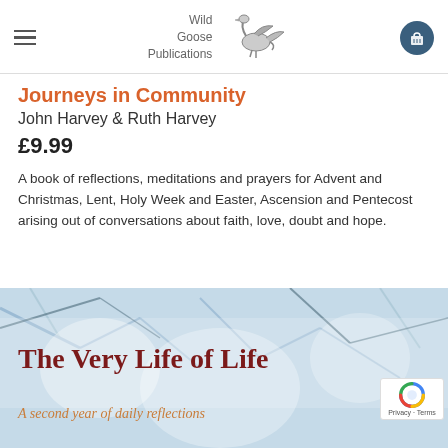Wild Goose Publications
Journeys in Community
John Harvey & Ruth Harvey
£9.99
A book of reflections, meditations and prayers for Advent and Christmas, Lent, Holy Week and Easter, Ascension and Pentecost arising out of conversations about faith, love, doubt and hope.
[Figure (photo): Book cover image for 'The Very Life of Life: A second year of daily reflections' with abstract blue/white branch background]
The Very Life of Life — A second year of daily reflections